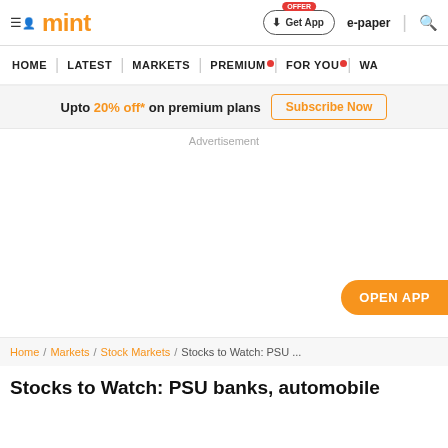mint
HOME | LATEST | MARKETS | PREMIUM | FOR YOU | WA
Upto 20% off* on premium plans Subscribe Now
Advertisement
OPEN APP
Home / Markets / Stock Markets / Stocks to Watch: PSU ...
Stocks to Watch: PSU banks, automobile